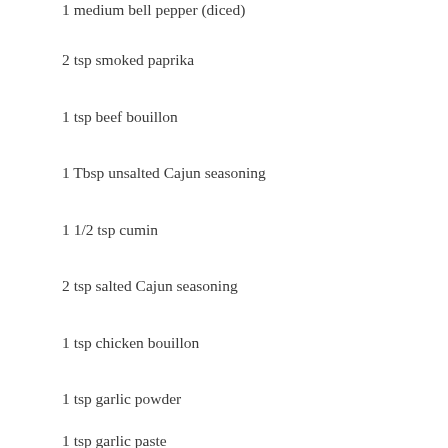1 medium bell pepper (diced)
2 tsp smoked paprika
1 tsp beef bouillon
1 Tbsp unsalted Cajun seasoning
1 1/2 tsp cumin
2 tsp salted Cajun seasoning
1 tsp chicken bouillon
1 tsp garlic powder
1 tsp garlic paste